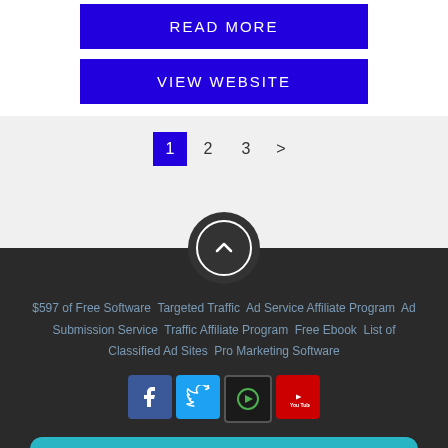READ MORE
VIEW WEBSITE
1  2  3  >
[Figure (illustration): Dark circular scroll-to-top button with chevron/caret up icon inside a white circle ring]
$597 of Free Software  Targeted Traffic  Ad Service Affiliate Program  Ad Submission Service  Traffic Affiliate Program  Free Ebook  List of Classified Ad Sites  Pro Marketing Software
[Figure (illustration): Social media icons: Facebook (blue), Twitter (cyan), Dailymotion/play (dark with green), YouTube (red)]
Join Our Newsletter and Download $597 of Pro